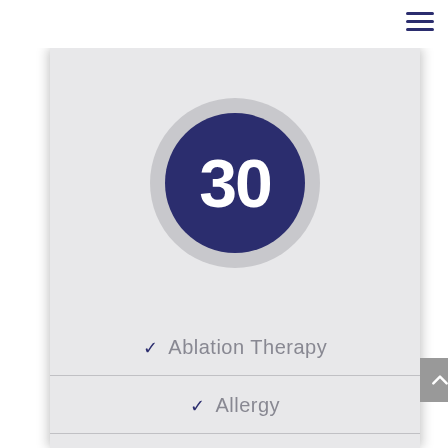[Figure (infographic): Dark navy blue circle with number 30 inside, surrounded by a light grey ring — representing a count badge of 30 items]
✓ Ablation Therapy
✓ Allergy
✓ Skin Test
✓ Liver Enzymes